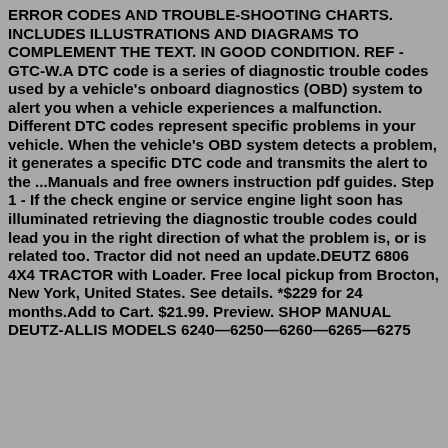ERROR CODES AND TROUBLE-SHOOTING CHARTS. INCLUDES ILLUSTRATIONS AND DIAGRAMS TO COMPLEMENT THE TEXT. IN GOOD CONDITION. REF - GTC-W.A DTC code is a series of diagnostic trouble codes used by a vehicle's onboard diagnostics (OBD) system to alert you when a vehicle experiences a malfunction. Different DTC codes represent specific problems in your vehicle. When the vehicle's OBD system detects a problem, it generates a specific DTC code and transmits the alert to the ...Manuals and free owners instruction pdf guides. Step 1 - If the check engine or service engine light soon has illuminated retrieving the diagnostic trouble codes could lead you in the right direction of what the problem is, or is related too. Tractor did not need an update.DEUTZ 6806 4X4 TRACTOR with Loader. Free local pickup from Brocton, New York, United States. See details. *$229 for 24 months.Add to Cart. $21.99. Preview. SHOP MANUAL DEUTZ-ALLIS MODELS 6240—6250—6260—6265—6275